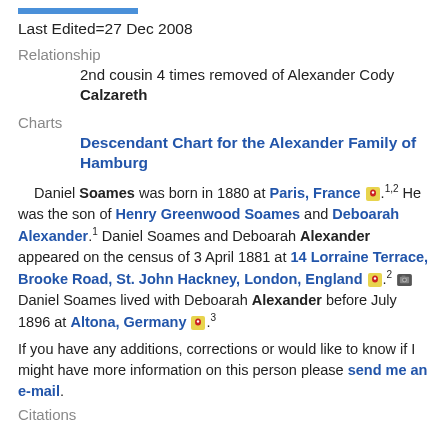Last Edited=27 Dec 2008
Relationship
2nd cousin 4 times removed of Alexander Cody Calzareth
Charts
Descendant Chart for the Alexander Family of Hamburg
Daniel Soames was born in 1880 at Paris, France .1,2 He was the son of Henry Greenwood Soames and Deboarah Alexander.1 Daniel Soames and Deboarah Alexander appeared on the census of 3 April 1881 at 14 Lorraine Terrace, Brooke Road, St. John Hackney, London, England .2 Daniel Soames lived with Deboarah Alexander before July 1896 at Altona, Germany .3
If you have any additions, corrections or would like to know if I might have more information on this person please send me an e-mail.
Citations